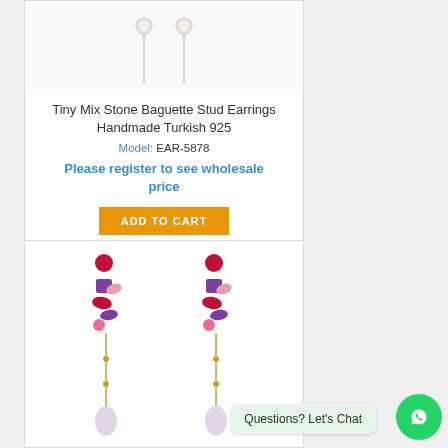[Figure (photo): Product image of tiny mix stone baguette stud earrings, pearl/crystal colored, against white background]
Tiny Mix Stone Baguette Stud Earrings Handmade Turkish 925
Model: EAR-5878
Please register to see wholesale price
ADD TO CART
[Figure (photo): Product image of colorful multi-stone dangling earrings with pink, purple, red gemstones on gold setting, with drop chain and teardrop bottom]
Questions? Let's Chat